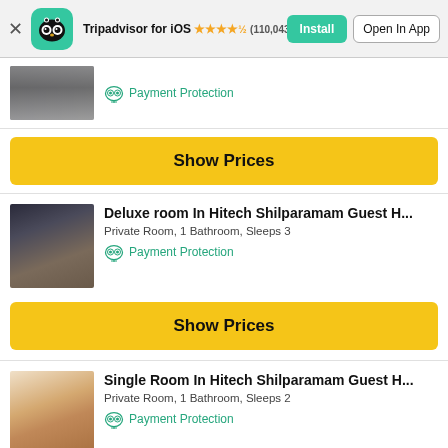Tripadvisor for iOS ★★★★½ (110,043) — Install | Open In App
[Figure (screenshot): Partial hotel room image (top-cropped) with Payment Protection badge]
Payment Protection
Show Prices
Deluxe room In Hitech Shilparamam Guest H...
Private Room, 1 Bathroom, Sleeps 3
Payment Protection
Show Prices
Single Room In Hitech Shilparamam Guest H...
Private Room, 1 Bathroom, Sleeps 2
Payment Protection